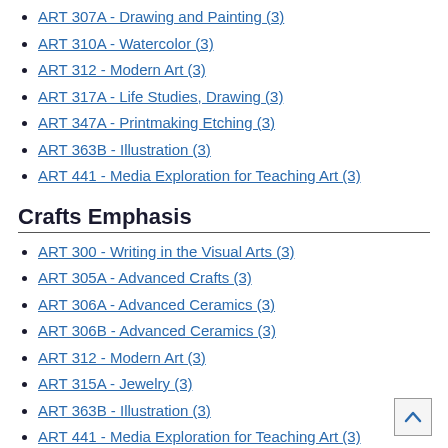ART 307A - Drawing and Painting (3)
ART 310A - Watercolor (3)
ART 312 - Modern Art (3)
ART 317A - Life Studies, Drawing (3)
ART 347A - Printmaking Etching (3)
ART 363B - Illustration (3)
ART 441 - Media Exploration for Teaching Art (3)
Crafts Emphasis
ART 300 - Writing in the Visual Arts (3)
ART 305A - Advanced Crafts (3)
ART 306A - Advanced Ceramics (3)
ART 306B - Advanced Ceramics (3)
ART 312 - Modern Art (3)
ART 315A - Jewelry (3)
ART 363B - Illustration (3)
ART 441 - Media Exploration for Teaching Art (3)
Creative Photography and Computer Design Emphasis